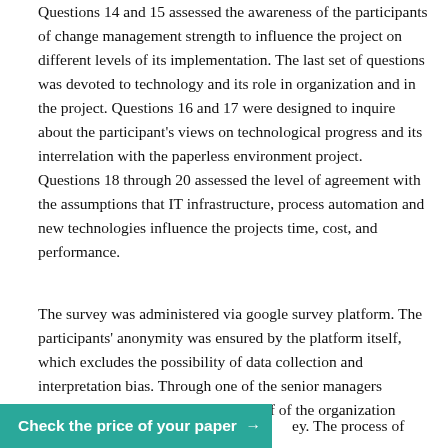Questions 14 and 15 assessed the awareness of the participants of change management strength to influence the project on different levels of its implementation. The last set of questions was devoted to technology and its role in organization and in the project. Questions 16 and 17 were designed to inquire about the participant's views on technological progress and its interrelation with the paperless environment project. Questions 18 through 20 assessed the level of agreement with the assumptions that IT infrastructure, process automation and new technologies influence the projects time, cost, and performance.
The survey was administered via google survey platform. The participants' anonymity was ensured by the platform itself, which excludes the possibility of data collection and interpretation bias. Through one of the senior managers working at GCAA all managerial staff of the organization
Check the price of your paper → ey. The process of